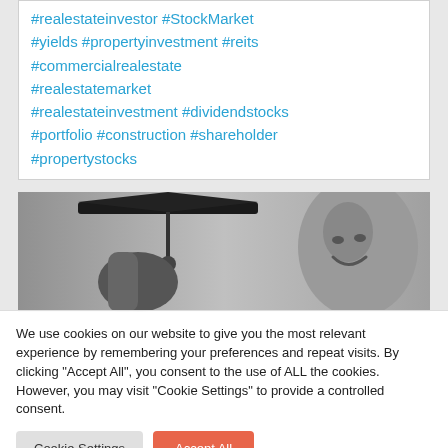#realestateinvestor #StockMarket #yields #propertyinvestment #reits #commercialrealestate #realestatemarket #realestateinvestment #dividendstocks #portfolio #construction #shareholder #propertystocks
[Figure (photo): Black and white photograph showing a person smiling and holding a graduation cap]
We use cookies on our website to give you the most relevant experience by remembering your preferences and repeat visits. By clicking "Accept All", you consent to the use of ALL the cookies. However, you may visit "Cookie Settings" to provide a controlled consent.